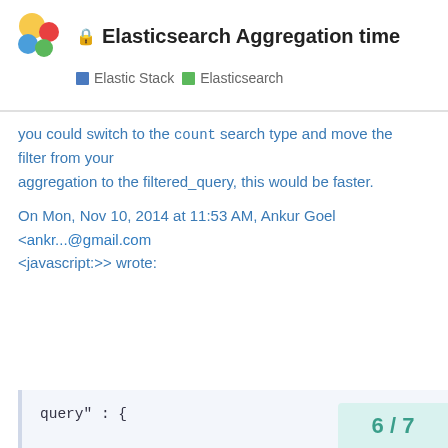🔒 Elasticsearch Aggregation time | Elastic Stack | Elasticsearch
you could switch to the count search type and move the filter from your aggregation to the filtered_query, this would be faster.
On Mon, Nov 10, 2014 at 11:53 AM, Ankur Goel <ankr...@gmail.com <javascript:>> wrote:
query" : {

  "filtered" : {

    "query" : {

      "match_all" : { }

    },

    "filter" : {
6 / 7